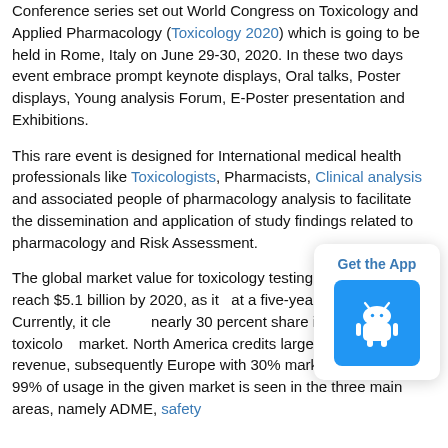Conference series set out World Congress on Toxicology and Applied Pharmacology (Toxicology 2020) which is going to be held in Rome, Italy on June 29-30, 2020. In these two days event embrace prompt keynote displays, Oral talks, Poster displays, Young analysis Forum, E-Poster presentation and Exhibitions.
This rare event is designed for International medical health professionals like Toxicologists, Pharmacists, Clinical analysis and associated people of pharmacology analysis to facilitate the dissemination and application of study findings related to pharmacology and Risk Assessment.
The global market value for toxicology testing is estimated to reach $5.1 billion by 2020, as it [grows] at a five-year CAGR of 15.4%. Currently, it cle[nches] nearly 30 percent share in the global toxicolo[gy] market. North America credits largest share o[f] 40% revenue, subsequently Europe with 30% market share. Over 99% of usage in the given market is seen in the three main areas, namely ADME, safety
[Figure (other): Get the App widget with Android robot icon button in blue square]